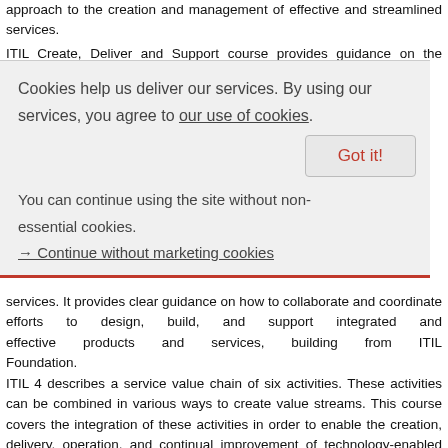approach to the creation and management of effective and streamlined services.
ITIL Create, Deliver and Support course provides guidance on the cultural and team management aspects of product and
Cookies help us deliver our services. By using our services, you agree to our use of cookies.
Got it!
You can continue using the site without non-essential cookies.
→ Continue without marketing cookies
services. It provides clear guidance on how to collaborate and coordinate efforts to design, build, and support integrated and effective products and services, building from ITIL Foundation.
ITIL 4 describes a service value chain of six activities. These activities can be combined in various ways to create value streams. This course covers the integration of these activities in order to enable the creation, delivery, operation, and continual improvement of technology-enabled products and